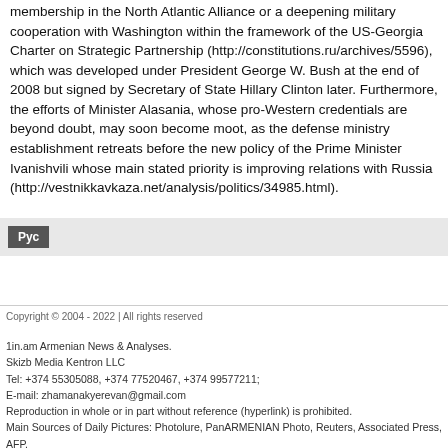membership in the North Atlantic Alliance or a deepening military cooperation with Washington within the framework of the US-Georgia Charter on Strategic Partnership (http://constitutions.ru/archives/5596), which was developed under President George W. Bush at the end of 2008 but signed by Secretary of State Hillary Clinton later. Furthermore, the efforts of Minister Alasania, whose pro-Western credentials are beyond doubt, may soon become moot, as the defense ministry establishment retreats before the new policy of the Prime Minister Ivanishvili whose main stated priority is improving relations with Russia (http://vestnikkavkaza.net/analysis/politics/34985.html).
Рус
Copyright © 2004 - 2022 | All rights reserved
1in.am Armenian News & Analyses.
Skizb Media Kentron LLC
Tel: +374 55305088, +374 77520467, +374 99577211;
E-mail: zhamanakyerevan@gmail.com
Reproduction in whole or in part without reference (hyperlink) is prohibited.
Main Sources of Daily Pictures: Photolure, PanARMENIAN Photo, Reuters, Associated Press, AFP, Getty Images
Website by Rayotte Technologies